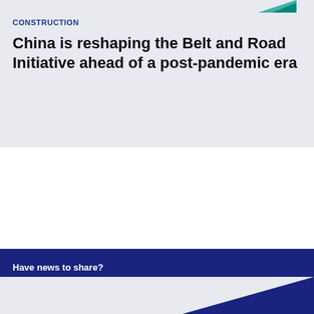CONSTRUCTION
China is reshaping the Belt and Road Initiative ahead of a post-pandemic era
Have news to share?
Email us at editorial.zawya@lseg.com, or send us your company press releases to pressrelease.zawya@lseg.com